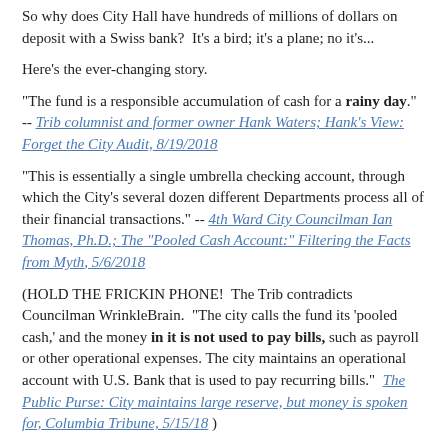So why does City Hall have hundreds of millions of dollars on deposit with a Swiss bank?  It's a bird; it's a plane; no it's...
Here's the ever-changing story.
"The fund is a responsible accumulation of cash for a rainy day."  -- Trib columnist and former owner Hank Waters; Hank's View: Forget the City Audit, 8/19/2018
"This is essentially a single umbrella checking account, through which the City's several dozen different Departments process all of their financial transactions." -- 4th Ward City Councilman Ian Thomas, Ph.D.; The "Pooled Cash Account:" Filtering the Facts from Myth, 5/6/2018
(HOLD THE FRICKIN PHONE!  The Trib contradicts Councilman WrinkleBrain.  "The city calls the fund its 'pooled cash,' and the money in it is not used to pay bills, such as payroll or other operational expenses. The city maintains an operational account with U.S. Bank that is used to pay recurring bills."  The Public Purse: City maintains large reserve, but money is spoken for, Columbia Tribune, 5/15/18 )